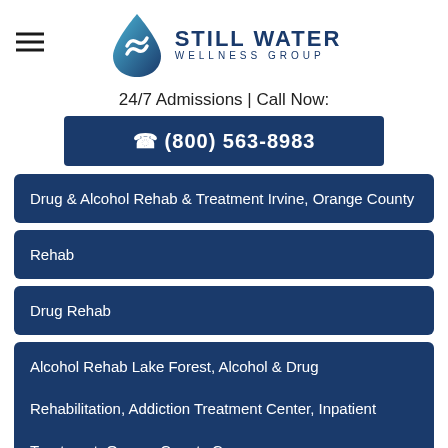[Figure (logo): Still Water Wellness Group logo with water drop icon and text]
24/7 Admissions | Call Now:
📞 (800) 563-8983
Drug & Alcohol Rehab & Treatment Irvine, Orange County
Rehab
Drug Rehab
Alcohol Rehab Lake Forest, Alcohol & Drug Rehabilitation, Addiction Treatment Center, Inpatient Treatment, Orange County Ca
Addiction Treatment in Lake Forest At Stillwater Wellness